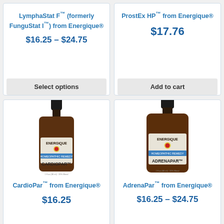LymphaStat F™ (formerly FunguStat I™) from Energique®
$16.25 – $24.75
Select options
ProstEx HP™ from Energique®
$17.76
Add to cart
[Figure (photo): Amber dropper bottle labeled CardioPar from Energique, Homeopathic Remedy, 1 fl oz]
CardioPar™ from Energique®
$16.25
[Figure (photo): Amber dropper bottle labeled AdrenaParfrom Energique, Homeopathic Remedy, 2 fl oz]
AdrenaPar™ from Energique®
$16.25 – $24.75